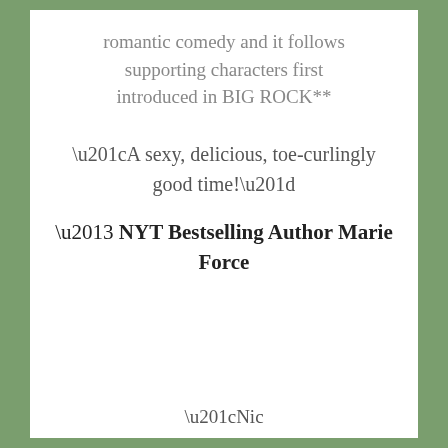romantic comedy and it follows supporting characters first introduced in BIG ROCK**
“A sexy, delicious, toe-curlingly good time!”
– NYT Bestselling Author Marie Force
“Nic…